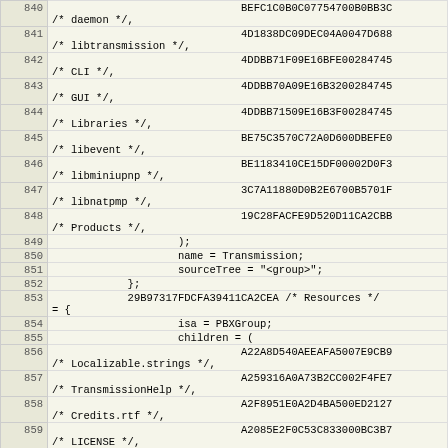| line | code |
| --- | --- |
| 840 |                               BEFC1C0B0C07754700B0BB3C
/* daemon */, |
| 841 |                               4D1838DC09DEC04A0047D688
/* libtransmission */, |
| 842 |                               4DDBB71F09E16BFE00284745
/* CLI */, |
| 843 |                               4DDBB70A09E16B3200284745
/* GUI */, |
| 844 |                               4DDBB71509E16B3F00284745
/* Libraries */, |
| 845 |                               BE75C3570C72A0D600DBEFE0
/* libevent */, |
| 846 |                               BE1183410CE15DF00002D0F3
/* libminiupnp */, |
| 847 |                               3C7A11880D0B2E6700B5701F
/* libnatpmp */, |
| 848 |                               19C28FACFE9D520D11CA2CBB
/* Products */, |
| 849 |                     ); |
| 850 |                     name = Transmission; |
| 851 |                     sourceTree = "<group>"; |
| 852 |             }; |
| 853 |             29B97317FDCFA39411CA2CEA /* Resources */
= { |
| 854 |                     isa = PBXGroup; |
| 855 |                     children = ( |
| 856 |                               A22A8D540AEEAFA5007E9CB9
/* Localizable.strings */, |
| 857 |                               A259316A0A73B2CC002F4FE7
/* TransmissionHelp */, |
| 858 |                               A2F8951E0A2D4BA500ED2127
/* Credits.rtf */, |
| 859 |                               A2085E2F0C53C833000BC3B7
/* LICENSE */, |